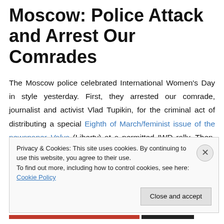Moscow: Police Attack and Arrest Our Comrades
The Moscow police celebrated International Women's Day in style yesterday. First, they arrested our comrade, journalist and activist Vlad Tupikin, for the criminal act of distributing a special Eighth of March/feminist issue of the newspaper Volya (Liberty) at a permitted IWD rally. Then, when other activists and rally attendees tried to demand Vlad's release, the police went after them as well. All in all, a couple dozen people were arrested for the apparently
Privacy & Cookies: This site uses cookies. By continuing to use this website, you agree to their use. To find out more, including how to control cookies, see here: Cookie Policy